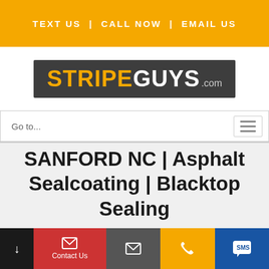TEXT US | CALL NOW | EMAIL US
[Figure (logo): Stripe Guys .com logo — STRIPE in gold/yellow, GUYS in white, on dark gray background]
Go to...
SANFORD NC | Asphalt Sealcoating | Blacktop Sealing
Contact Us | (email icon) | (phone icon) | SMS